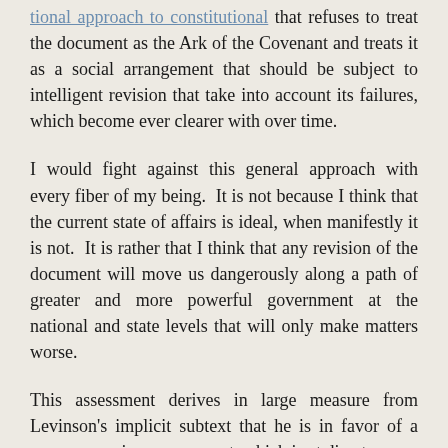...tional approach to constitutional that refuses to treat the document as the Ark of the Covenant and treats it as a social arrangement that should be subject to intelligent revision that take into account its failures, which become ever clearer with over time.
I would fight against this general approach with every fiber of my being. It is not because I think that the current state of affairs is ideal, when manifestly it is not. It is rather that I think that any revision of the document will move us dangerously along a path of greater and more powerful government at the national and state levels that will only make matters worse.
This assessment derives in large measure from Levinson's implicit subtext that he is in favor of a more expansive government, which is at direct